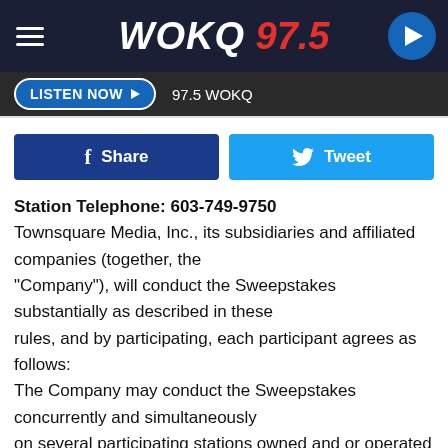[Figure (logo): WOKQ 97.5 radio station top navigation bar with hamburger menu, WOKQ 97.5 logo in white and red italic text, and a circular play button]
LISTEN NOW ▶  97.5 WOKQ
[Figure (infographic): Facebook Share button (dark blue) and Twitter Tweet button (light blue) side by side]
Station Telephone: 603-749-9750
Townsquare Media, Inc., its subsidiaries and affiliated companies (together, the "Company"), will conduct the Sweepstakes substantially as described in these rules, and by participating, each participant agrees as follows:
The Company may conduct the Sweepstakes concurrently and simultaneously on several participating stations owned and or operated by the Company, and in